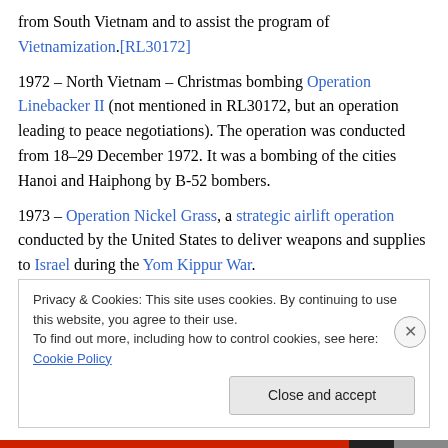from South Vietnam and to assist the program of Vietnamization.[RL30172]
1972 – North Vietnam – Christmas bombing Operation Linebacker II (not mentioned in RL30172, but an operation leading to peace negotiations). The operation was conducted from 18–29 December 1972. It was a bombing of the cities Hanoi and Haiphong by B-52 bombers.
1973 – Operation Nickel Grass, a strategic airlift operation conducted by the United States to deliver weapons and supplies to Israel during the Yom Kippur War.
Privacy & Cookies: This site uses cookies. By continuing to use this website, you agree to their use.
To find out more, including how to control cookies, see here: Cookie Policy